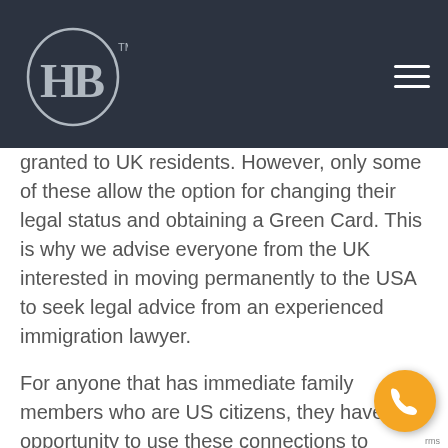HB™ [logo with hamburger menu]
granted to UK residents. However, only some of these allow the option for changing their legal status and obtaining a Green Card. This is why we advise everyone from the UK interested in moving permanently to the USA to seek legal advice from an experienced immigration lawyer.
For anyone that has immediate family members who are US citizens, they have the opportunity to use these connections to obtain an immigrant visa and later obtain a Green Card. However there are legal stipulations related to this option, and these are dependent on the exact relation with the family members and ability of providing adequate proof of